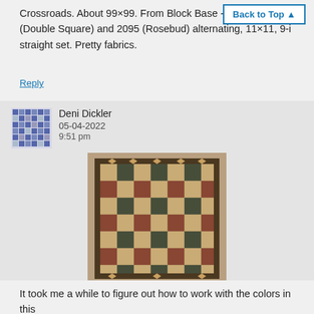Crossroads. About 99×99. From Block Base + #4192 (Double Square) and 2095 (Rosebud) alternating, 11×11, 9-i straight set. Pretty fabrics.
Back to Top ▲
Reply
Deni Dickler
05-04-2022
9:51 pm
[Figure (photo): A quilt with alternating geometric blocks in beige, dark blue/green, and rust/brown tones arranged in a grid pattern with a decorative border.]
It took me a while to figure out how to work with the colors in this